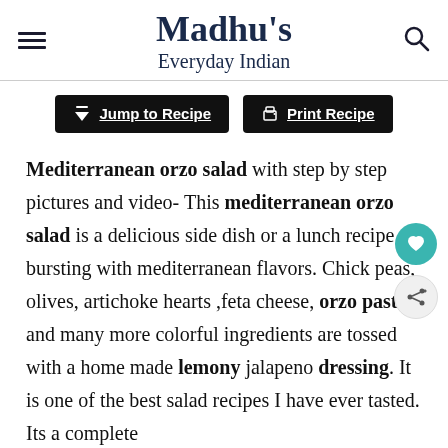Madhu's Everyday Indian
Jump to Recipe | Print Recipe
Mediterranean orzo salad with step by step pictures and video- This mediterranean orzo salad is a delicious side dish or a lunch recipe bursting with mediterranean flavors. Chick peas, olives, artichoke hearts ,feta cheese, orzo pasta and many more colorful ingredients are tossed with a home made lemony jalapeno dressing. It is one of the best salad recipes I have ever tasted. Its a complete